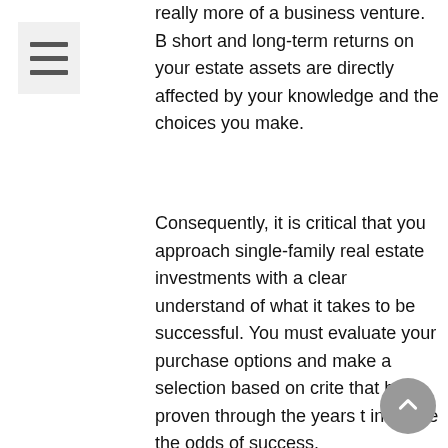[Figure (other): Menu/hamburger icon — three horizontal lines in a light gray box]
really more of a business venture. B short and long-term returns on your estate assets are directly affected by your knowledge and the choices you make.
Consequently, it is critical that you approach single-family real estate investments with a clear understand of what it takes to be successful. You must evaluate your purchase options and make a selection based on crite that have proven through the years t increase the odds of success.
Key Considerations As You Plan Y Purchase
When considering your first (or next) single-family real estate investment, keep these seven pointers in mind: